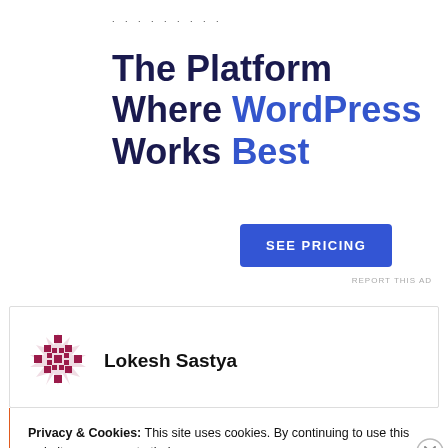. . . . . . . . .
The Platform Where WordPress Works Best
SEE PRICING
REPORT THIS AD
Lokesh Sastya
Privacy & Cookies: This site uses cookies. By continuing to use this website, you agree to their use.
To find out more, including how to control cookies, see here: Cookie Policy
Close and accept